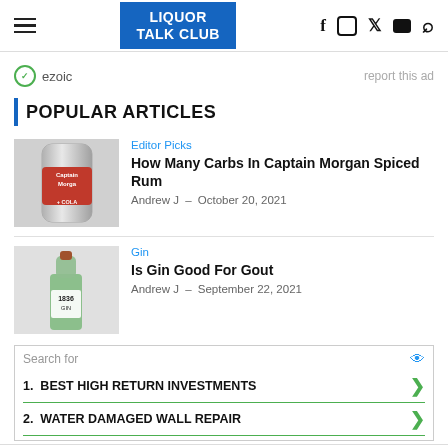LIQUOR TALK CLUB
[Figure (screenshot): Ezoic ad banner with report this ad link]
POPULAR ARTICLES
[Figure (photo): Captain Morgan Spiced Rum & Cola can]
Editor Picks
How Many Carbs In Captain Morgan Spiced Rum
Andrew J  –  October 20, 2021
[Figure (photo): 1886 Gin bottle on light background]
Gin
Is Gin Good For Gout
Andrew J  –  September 22, 2021
[Figure (infographic): Search widget: 1. BEST HIGH RETURN INVESTMENTS  2. WATER DAMAGED WALL REPAIR]
Ad | Business Focus